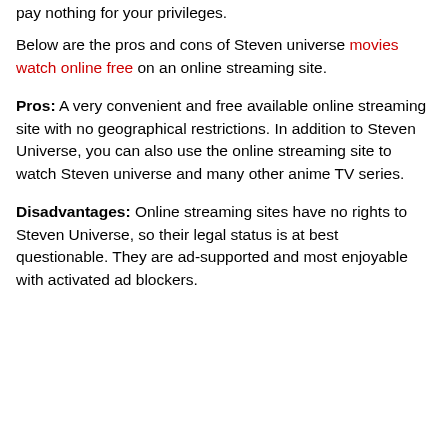pay nothing for your privileges.
Below are the pros and cons of Steven universe movies watch online free on an online streaming site.
Pros: A very convenient and free available online streaming site with no geographical restrictions. In addition to Steven Universe, you can also use the online streaming site to watch Steven universe and many other anime TV series.
Disadvantages: Online streaming sites have no rights to Steven Universe, so their legal status is at best questionable. They are ad-supported and most enjoyable with activated ad blockers.